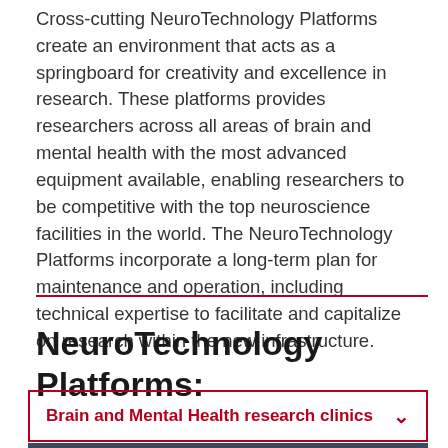Cross-cutting NeuroTechnology Platforms create an environment that acts as a springboard for creativity and excellence in research. These platforms provides researchers across all areas of brain and mental health with the most advanced equipment available, enabling researchers to be competitive with the top neuroscience facilities in the world. The NeuroTechnology Platforms incorporate a long-term plan for maintenance and operation, including technical expertise to facilitate and capitalize on research within the new infrastructure.
NeuroTechnology Platforms:
Brain and Mental Health research clinics